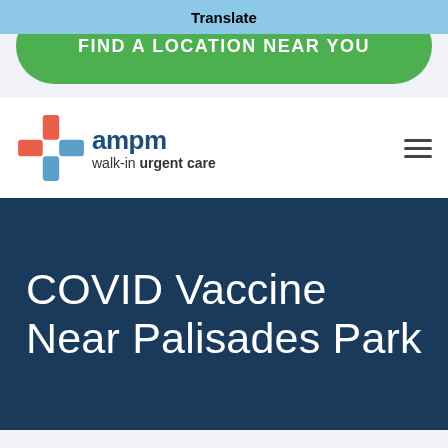Translate
FIND A LOCATION NEAR YOU
[Figure (logo): AMPM walk-in urgent care logo with cross icon in orange and blue]
COVID Vaccine Near Palisades Park